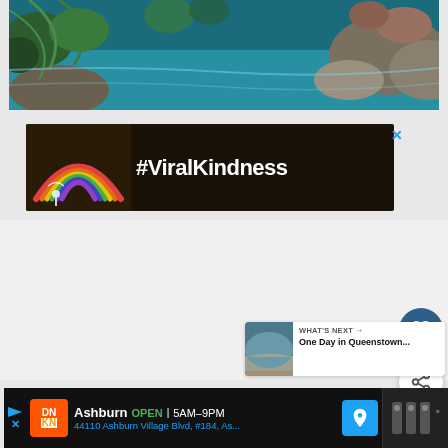[Figure (photo): Scenic landscape photo showing a rocky coastline with turquoise water, tropical/fern vegetation, and rocky outcrops visible at the top of the page]
[Figure (photo): Advertisement banner with dark brown/black background showing a chalk-drawn rainbow on the left and the text #ViralKindness in white bold font on the right, with a close (X) button in the top right corner]
[Figure (other): Dark blue circular floating action button with a white heart icon]
[Figure (other): White circular floating action button with a share icon (connected dots)]
[Figure (other): What's Next card showing a thumbnail of a landscape and text: WHAT'S NEXT arrow, One Day in Queenstown...]
[Figure (other): Bottom advertisement bar for Dunkin Donuts showing: Ashburn, OPEN, 5AM-9PM, 44110 Ashburn Village Blvd, #184, As... with a map/navigation icon and a side logo on the right]
WHAT'S NEXT → One Day in Queenstown...
Ashburn OPEN | 5AM–9PM 44110 Ashburn Village Blvd, #184, As...